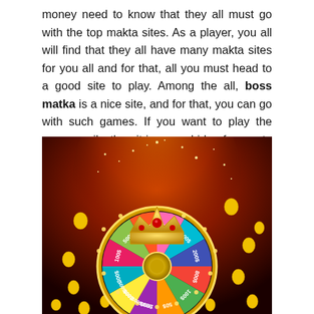money need to know that they all must go with the top makta sites. As a player, you all will find that they all have many makta sites for you all and for that, all you must head to a good site to play. Among the all, boss matka is a nice site, and for that, you can go with such games. If you want to play the game easily, then it is a good idea for you to go with the site here.
[Figure (illustration): A colorful casino prize wheel with gold crown on top, surrounded by gold coins, dollar amounts on the wheel segments ($100, $200, $300, $400, $500, $600, $700, $800, $1000), set against a dark red/orange glowing spotlight background.]